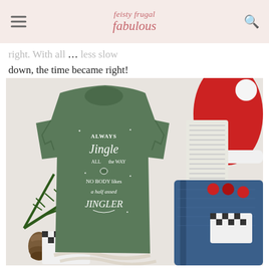feisty frugal fabulous (logo)
right. With all … less slow down, the time became right!
[Figure (photo): Green t-shirt with white script text reading 'Always Jingle All The Way Nobody Likes A Half Assed Jingler', surrounded by Christmas items including a red Santa hat, jeans, pine branches, pine cones, and holiday decorations on a white background.]